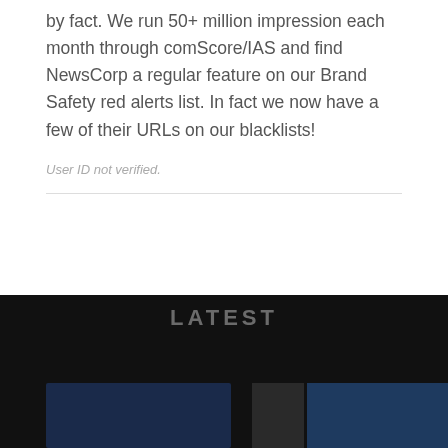by fact. We run 50+ million impression each month through comScore/IAS and find NewsCorp a regular feature on our Brand Safety red alerts list. In fact we now have a few of their URLs on our blacklists!
User ID not verified.
ADVERTISEMENT
LATEST
[Figure (photo): Two image thumbnails at the bottom of a dark section, partially visible]